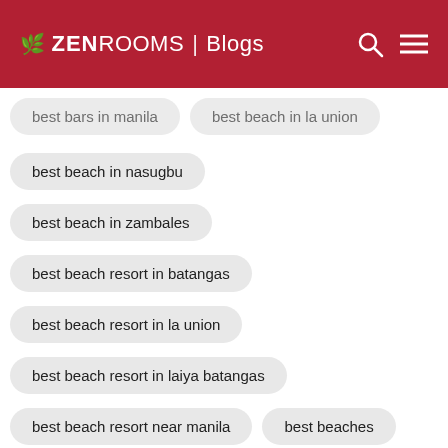ZEN ROOMS | Blogs
best bars in manila
best beach in la union
best beach in nasugbu
best beach in zambales
best beach resort in batangas
best beach resort in la union
best beach resort in laiya batangas
best beach resort near manila
best beaches
best beaches in cebu
best beaches in cebu south